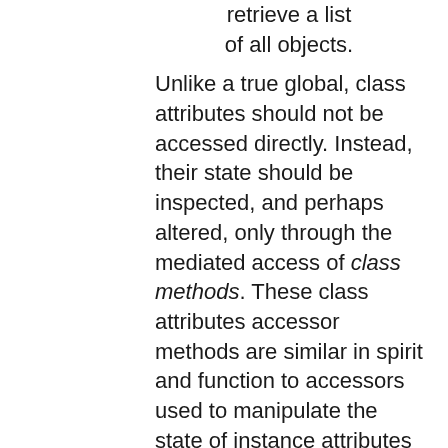retrieve a list of all objects.
Unlike a true global, class attributes should not be accessed directly. Instead, their state should be inspected, and perhaps altered, only through the mediated access of class methods. These class attributes accessor methods are similar in spirit and function to accessors used to manipulate the state of instance attributes on an object. They provide a clear firewall between interface and implementation.